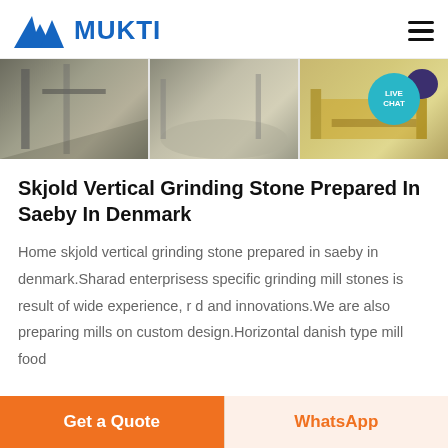MUKTI
[Figure (photo): Banner with three industrial/mining site photos side by side, with a Live Chat bubble overlay in the top right corner]
Skjold Vertical Grinding Stone Prepared In Saeby In Denmark
Home skjold vertical grinding stone prepared in saeby in denmark.Sharad enterprisess specific grinding mill stones is result of wide experience, r d and innovations.We are also preparing mills on custom design.Horizontal danish type mill food
Get a Quote | WhatsApp